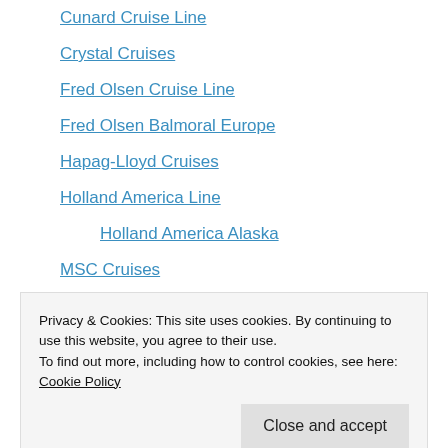Cunard Cruise Line
Crystal Cruises
Fred Olsen Cruise Line
Fred Olsen Balmoral Europe
Hapag-Lloyd Cruises
Holland America Line
Holland America Alaska
MSC Cruises
MSC Cruises Lirica
MSC Cruises Armonia
MSC Cruises Divina
Privacy & Cookies: This site uses cookies. By continuing to use this website, you agree to their use. To find out more, including how to control cookies, see here: Cookie Policy
Oceania Cruises Insignia